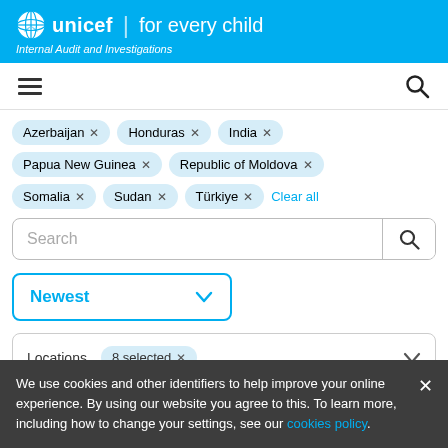unicef for every child — Internal Audit and Investigations
[Figure (screenshot): Navigation bar with hamburger menu icon and search icon]
Azerbaijan × Honduras × India × Papua New Guinea × Republic of Moldova × Somalia × Sudan × Türkiye × Clear all
Search
Newest
Locations  8 selected ×
We use cookies and other identifiers to help improve your online experience. By using our website you agree to this. To learn more, including how to change your settings, see our cookies policy.